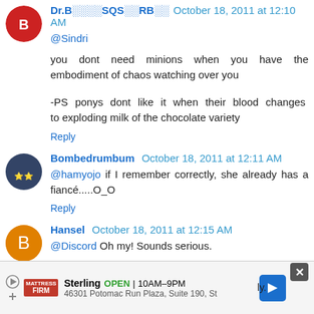Dr.B░░░░SQS░░RB░░ October 18, 2011 at 12:10 AM
@Sindri

you dont need minions when you have the embodiment of chaos watching over you


-PS ponys dont like it when their blood changes to exploding milk of the chocolate variety
Reply
Bombedrumbum October 18, 2011 at 12:11 AM
@hamyojo if I remember correctly, she already has a fiancé.....O_O
Reply
Hansel October 18, 2011 at 12:15 AM
@Discord Oh my! Sounds serious.
[Figure (infographic): Ad banner: Mattress Firm - Sterling OPEN 10AM-9PM, 46301 Potomac Run Plaza, Suite 190, St]